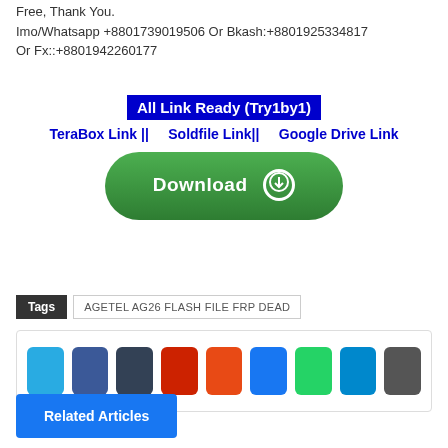Free, Thank You.
Imo/Whatsapp +8801739019506 Or Bkash:+8801925334817 Or Fx::+8801942260177
All Link Ready (Try1by1)
TeraBox Link || Soldfile Link|| Google Drive Link
[Figure (other): Green download button with download icon]
Tags  AGETEL AG26 FLASH FILE FRP DEAD
[Figure (other): Social share buttons row: sky blue, facebook blue, dark slate, red, orange, blue, green, light blue, gray]
Related Articles